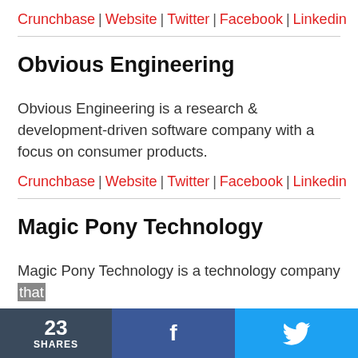Crunchbase | Website | Twitter | Facebook | Linkedin
Obvious Engineering
Obvious Engineering is a research & development-driven software company with a focus on consumer products.
Crunchbase | Website | Twitter | Facebook | Linkedin
Magic Pony Technology
Magic Pony Technology is a technology company that develops machine learning based approach for visual
23 SHARES  f  (twitter bird)